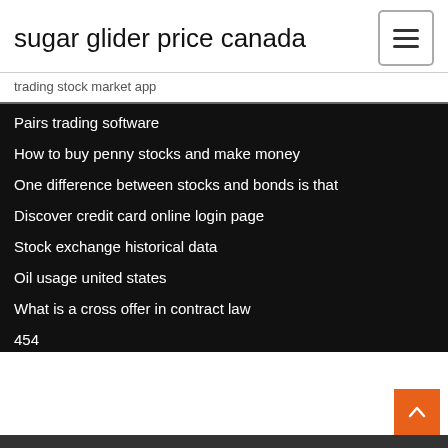sugar glider price canada
trading stock market app
Pairs trading software
How to buy penny stocks and make money
One difference between stocks and bonds is that
Discover credit card online login page
Stock exchange historical data
Oil usage united states
What is a cross offer in contract law
454